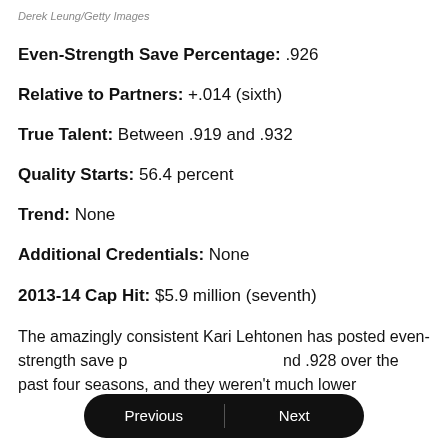Derek Leung/Getty Images
Even-Strength Save Percentage: .926
Relative to Partners: +.014 (sixth)
True Talent: Between .919 and .932
Quality Starts: 56.4 percent
Trend: None
Additional Credentials: None
2013-14 Cap Hit: $5.9 million (seventh)
The amazingly consistent Kari Lehtonen has posted even-strength save p[...] nd .928 over the past four seasons, and they weren't much lower